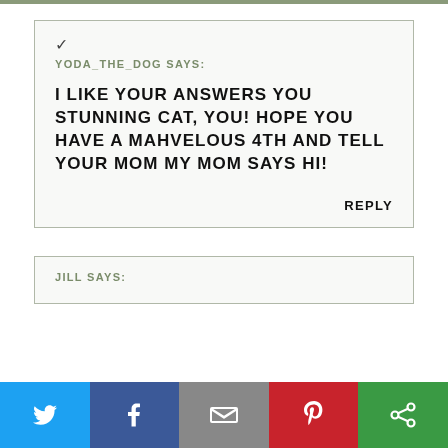YODA_THE_DOG SAYS:
I LIKE YOUR ANSWERS YOU STUNNING CAT, YOU! HOPE YOU HAVE A MAHVELOUS 4TH AND TELL YOUR MOM MY MOM SAYS HI!
REPLY
JILL SAYS:
[Figure (other): Social sharing bar with Twitter, Facebook, Email, Pinterest, and another sharing button icons]